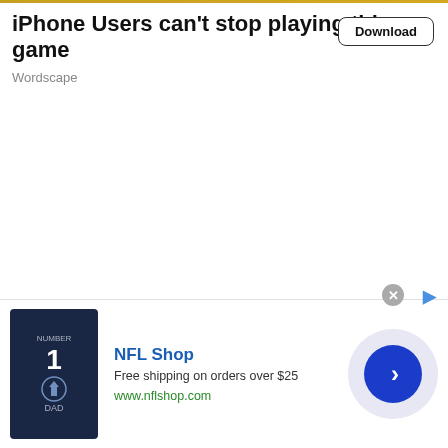iPhone Users can't stop playing this game
Wordscape
Download
[Figure (other): Advertisement banner for NFL Shop showing a Dallas Cowboys navy jersey with number 1 and DAD text, with NFL Shop branding, free shipping offer, website URL, and a blue arrow button]
NFL Shop
Free shipping on orders over $25
www.nflshop.com